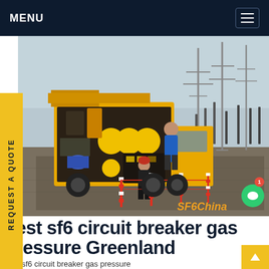MENU
[Figure (photo): A yellow SF6 gas handling truck/mobile unit parked at an electrical substation with high-voltage transmission towers in the background. Workers in blue and black clothing visible near the equipment. Red and white barrier posts on gravel ground. SF6China watermark in lower right.]
best sf6 circuit breaker gas pressure Greenland
best sf6 circuit breaker gas pressure